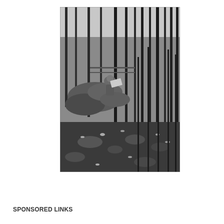[Figure (photo): Black and white photograph of a person sitting on large rocks in a forest, appearing to read or draw on a board, surrounded by tall thin trees and rocky ground with scattered leaves.]
Dean Mortensen
SPONSORED LINKS